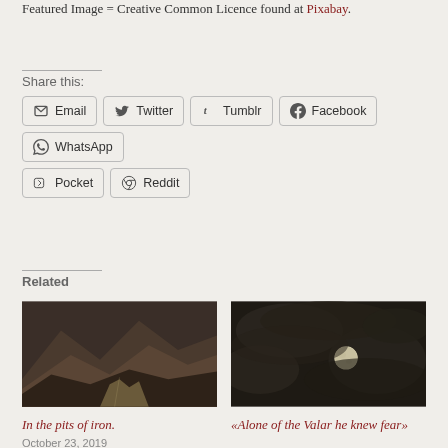Featured Image = Creative Common Licence found at Pixabay.
Share this:
Email
Twitter
Tumblr
Facebook
WhatsApp
Pocket
Reddit
Related
[Figure (photo): Mountain valley landscape with rocky hills, sepia/dark toned]
In the pits of iron.
October 23, 2019
[Figure (photo): Moon visible through dark cloudy sky, night scene]
«Alone of the Valar he knew fear»